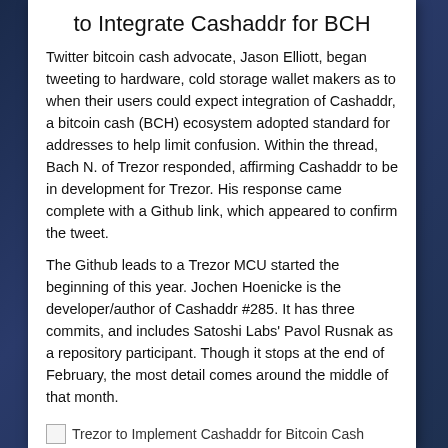to Integrate Cashaddr for BCH
Twitter bitcoin cash advocate, Jason Elliott, began tweeting to hardware, cold storage wallet makers as to when their users could expect integration of Cashaddr, a bitcoin cash (BCH) ecosystem adopted standard for addresses to help limit confusion. Within the thread, Bach N. of Trezor responded, affirming Cashaddr to be in development for Trezor. His response came complete with a Github link, which appeared to confirm the tweet.
The Github leads to a Trezor MCU started the beginning of this year. Jochen Hoenicke is the developer/author of Cashaddr #285. It has three commits, and includes Satoshi Labs' Pavol Rusnak as a repository participant. Though it stops at the end of February, the most detail comes around the middle of that month.
[Figure (other): Trezor to Implement Cashaddr for Bitcoin Cash — image placeholder with caption text partially visible]